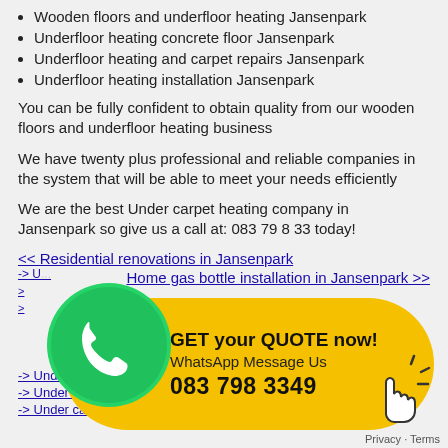Wooden floors and underfloor heating Jansenpark
Underfloor heating concrete floor Jansenpark
Underfloor heating and carpet repairs Jansenpark
Underfloor heating installation Jansenpark
You can be fully confident to obtain quality from our wooden floors and underfloor heating business
We have twenty plus professional and reliable companies in the system that will be able to meet your needs efficiently
We are the best Under carpet heating company in Jansenpark so give us a call at: 083 79 8 33 today!
<< Residential renovations in Jansenpark
Home gas bottle installation in Jansenpark >>
[Figure (infographic): WhatsApp call-to-action banner with green WhatsApp icon, yellow rounded rectangle containing 'GET your QUOTE now! WhatsApp Message Us 083 798 3349' and a clicking hand cursor icon]
-> Under carpet heating in Baragwanath
-> Under carpet heating in Braamfontein
-> Under carpet heating in Buurendal
Privacy · Terms